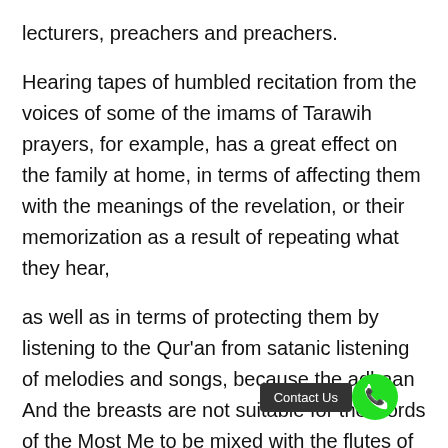lecturers, preachers and preachers.
Hearing tapes of humbled recitation from the voices of some of the imams of Tarawih prayers, for example, has a great effect on the family at home, in terms of affecting them with the meanings of the revelation, or their memorization as a result of repeating what they hear,
as well as in terms of protecting them by listening to the Qur'an from satanic listening of melodies and songs, because the adhaan And the breasts are not suitable for the words of the Most Me to be mixed with the flutes of Satan.